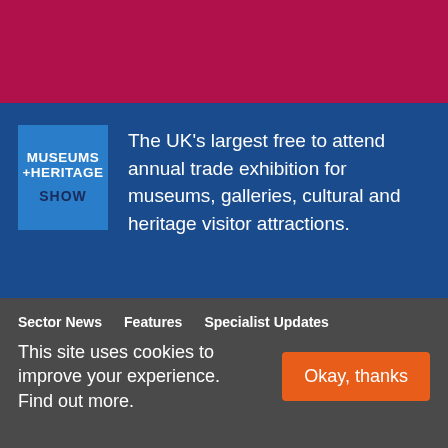[Figure (other): Crimson/dark pink banner bar at top of page]
[Figure (logo): Museums + Heritage Show logo: white text on blue square reading MUSEUMS +HERITAGE with SHOW below]
The UK's largest free to attend annual trade exhibition for museums, galleries, cultural and heritage visitor attractions.
Sector News   Features   Specialist Updates
This site uses cookies to improve your experience. Find out more.